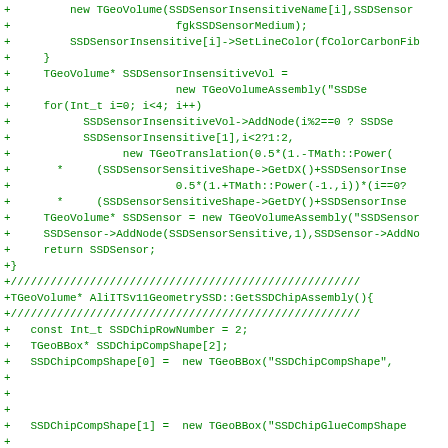Code diff showing C++ source additions for AliITSv11GeometrySSD TGeoVolume assembly construction, including SSDSensorInsensitiveVol, SSDSensor, and SSDChipComp definitions.